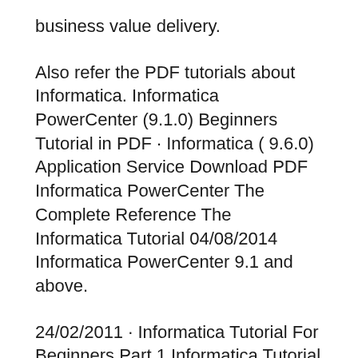business value delivery.
Also refer the PDF tutorials about Informatica. Informatica PowerCenter (9.1.0) Beginners Tutorial in PDF · Informatica ( 9.6.0) Application Service Download PDF Informatica PowerCenter The Complete Reference The Informatica Tutorial 04/08/2014 Informatica PowerCenter 9.1 and above.
24/02/2011 · Informatica Tutorial For Beginners Part 1 Informatica Tutorial 1.9 ETL Tool Informatica(Powercenter) Informatica Tutorial – Part 1 Informatica is a widely used ETL tool for extracting the source data and loading it into the